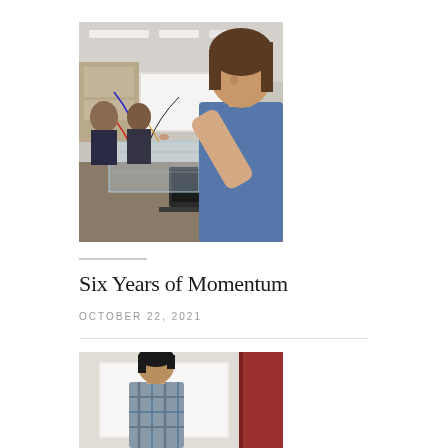[Figure (photo): Students working in an engineering lab setting; a young woman in the foreground carefully assembles wiring on a transparent acrylic structure on a desk with laptops and other students visible in the background.]
Six Years of Momentum
OCTOBER 22, 2021
[Figure (photo): A person in a plaid shirt viewed from behind, standing near a whiteboard or wall with reddish door frame visible.]